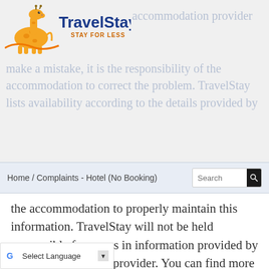[Figure (logo): TravelStay.com logo with cartoon giraffe and tagline STAY FOR LESS]
accommodation provider make a mistake, it is the responsibility of the accommodation to correct the problem. TravelStay lists availability according to the details provided by
Home / Complaints - Hotel (No Booking)
the accommodation to properly maintain this information. TravelStay will not be held responsible for errors in information provided by the accommodation provider. You can find more information in TravelStay's Terms and Conditions.
If your complaint relates to the booking process with TravelStay, please contact us and we will do all we can to correct any problems. Please include as much information as possible, including